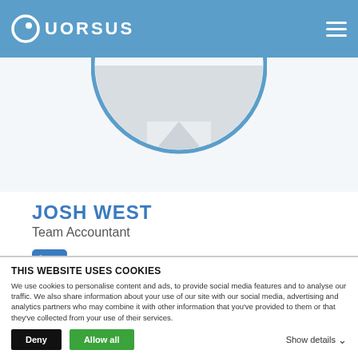QUORSUS
[Figure (photo): Circular cropped profile photo of Josh West wearing a collared shirt, partially visible in the lower half of the circle against a blue circular border]
JOSH WEST
Team Accountant
[Figure (logo): LinkedIn 'in' logo in blue]
One Piece of Advice: “The most valuable thing you can make is a mistake – you can’t learn anything from being perfect”
THIS WEBSITE USES COOKIES
We use cookies to personalise content and ads, to provide social media features and to analyse our traffic. We also share information about your use of our site with our social media, advertising and analytics partners who may combine it with other information that you’ve provided to them or that they’ve collected from your use of their services.